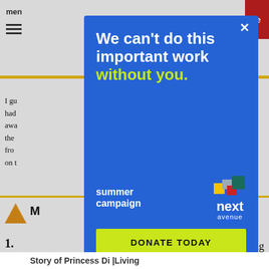I gu had awa the fro on t
ass hat n me
[Figure (infographic): Donation campaign modal overlay on a web article page. Blue modal with white bold text 'We can’t do this important work' and yellow-green text 'without you.' Below: 'summer campaign' label on the left, Next Avenue logo on the right with colorful square icons, and a yellow-green 'DONATE TODAY' button at the bottom. Close X button in top right corner. Red button partially visible at top right. Background article text partially visible on sides.]
Story of Princess Di | Living